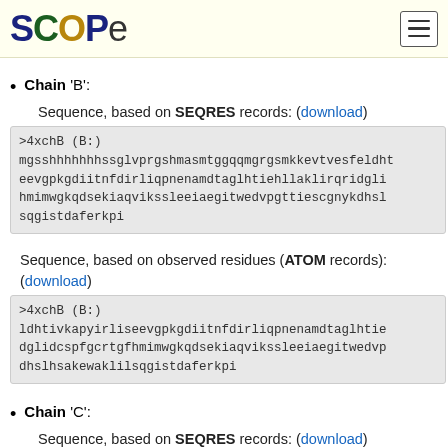SCOPe
Chain 'B':
Sequence, based on SEQRES records: (download)
>4xchB (B:)
mgsshhhhhhhssglvprgshmasmtggqqmgrgsmkkevtvesfeldht
eevgpkgdiitnfdirliqpnenamdtaglhtiehllaklirqridgli
hmimwgkqdsekiaqvikssleeiaegitwedvpgttiescgnykdhsl
sqgistdaferkpi
Sequence, based on observed residues (ATOM records): (download)
>4xchB (B:)
ldhtivkapyirliseevgpkgdiitnfdirliqpnenamdtaglhtie
dglidcspfgcrtgfhmimwgkqdsekiaqvikssleeiaegitwedvp
dhslhsakewaklilsqgistdaferkpi
Chain 'C':
Sequence, based on SEQRES records: (download)